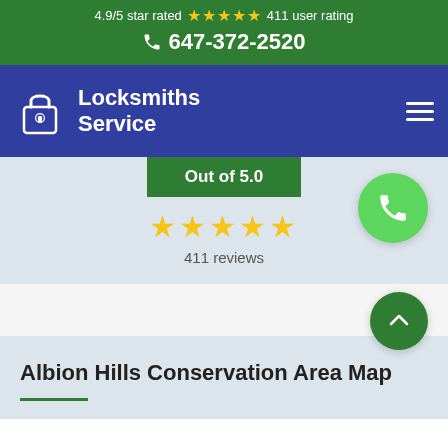4.9/5 star rated ★★★★★ 411 user rating
647-372-2520
[Figure (logo): Locksmiths Service logo with padlock icon on dark blue nav bar]
Out of 5.0
★★★★★
411 reviews
[Figure (other): Green circular phone call button]
[Figure (other): Dark green circular scroll-up arrow button]
Albion Hills Conservation Area Map